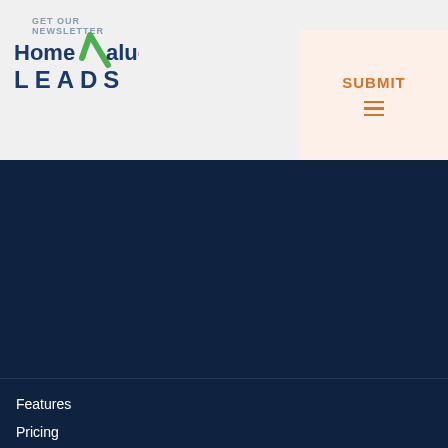GET OUR NEWSLETTER
[Figure (logo): Home Value Leads logo with green checkmark]
SUBMIT
Features
Pricing
Demo
FAQs
About
Blog
Terms of Service
Privacy Policy
Facebook
Google+